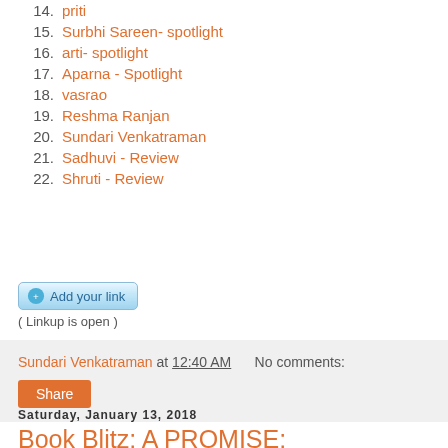14. priti
15. Surbhi Sareen- spotlight
16. arti- spotlight
17. Aparna - Spotlight
18. vasrao
19. Reshma Ranjan
20. Sundari Venkatraman
21. Sadhuvi - Review
22. Shruti - Review
Add your link
( Linkup is open )
Sundari Venkatraman at 12:40 AM    No comments:
Share
Saturday, January 13, 2018
Book Blitz: A PROMISE: TOGETHERNESS FOREVER by